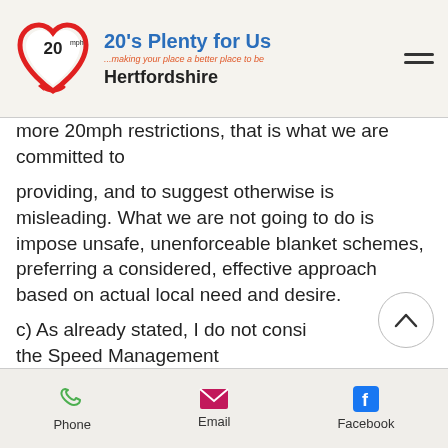[Figure (logo): 20's Plenty for Us logo with red heart shape containing '20mph' text, site title '20's Plenty for Us', subtitle '...making your place a better place to be', and location 'Hertfordshire']
more 20mph restrictions, that is what we are committed to providing, and to suggest otherwise is misleading. What we are not going to do is impose unsafe, unenforceable blanket schemes, preferring a considered, effective approach based on actual local need and desire.

c) As already stated, I do not consi... the Speed Management Strategy, as democratically agreed, to
Phone   Email   Facebook